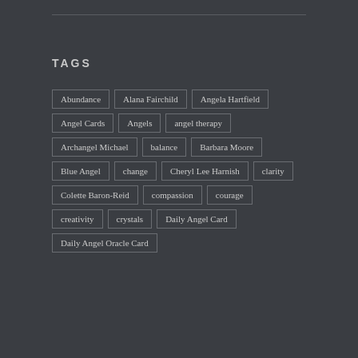TAGS
Abundance
Alana Fairchild
Angela Hartfield
Angel Cards
Angels
angel therapy
Archangel Michael
balance
Barbara Moore
Blue Angel
change
Cheryl Lee Harnish
clarity
Colette Baron-Reid
compassion
courage
creativity
crystals
Daily Angel Card
Daily Angel Oracle Card